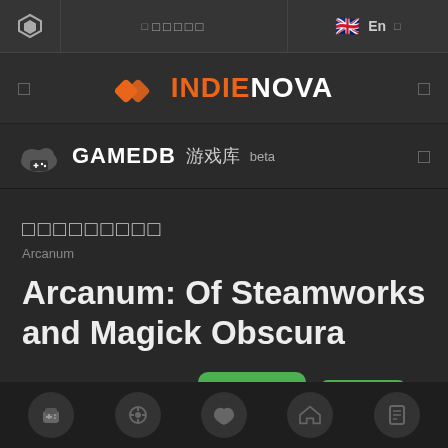⬡  □ □□□□□  🇬🇧 En □
[Figure (logo): INDIENOVA logo with orange diamond icon and white/orange text]
GAMEDB 游戏库 beta
□□□□□□□□□
Arcanum
Arcanum: Of Steamworks and Magick Obscura
8.1  9.0